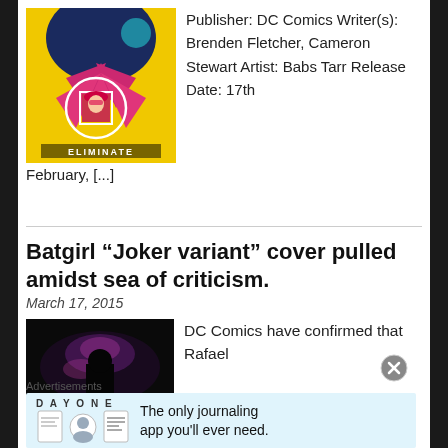[Figure (illustration): Comic book cover illustration showing a stylized superhero character in pink/red with dark blue armor figure, yellow background, white circle framing a character portrait, text 'ELIMINATE' at bottom]
Publisher: DC Comics Writer(s): Brenden Fletcher, Cameron Stewart Artist: Babs Tarr Release Date: 17th February, [...]
Batgirl “Joker variant” cover pulled amidst sea of criticism.
March 17, 2015
[Figure (photo): Dark photo showing what appears to be a comic book scene with purple/pink tones and a silhouetted figure]
DC Comics have confirmed that Rafael
Advertisements
[Figure (infographic): Day One journaling app advertisement banner with icons and tagline: The only journaling app you'll ever need.]